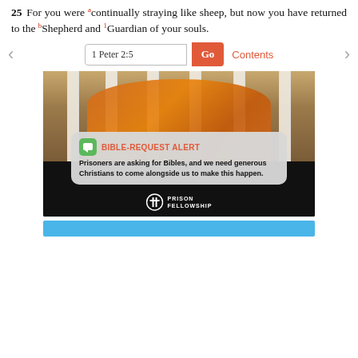25 For you were [a]continually straying like sheep, but now you have returned to the [b]Shepherd and [1]Guardian of your souls.
[Figure (screenshot): Navigation bar with left arrow, bible verse search input showing '1 Peter 2:5', a red 'Go' button, and a 'Contents' link in red, with right arrow]
[Figure (photo): Advertisement image showing a prisoner in orange jumpsuit behind bars, with a notification bubble overlay reading 'BIBLE-REQUEST ALERT: Prisoners are asking for Bibles, and we need generous Christians to come alongside us to make this happen.' Prison Fellowship logo at bottom.]
[Figure (other): Blue bar/banner at bottom of page, partially visible]